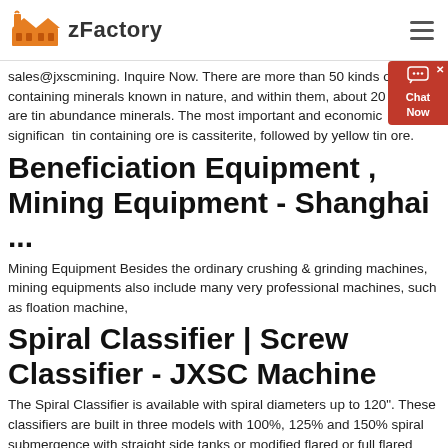zFactory
sales@jxscmining. Inquire Now. There are more than 50 kinds of tin-containing minerals known in nature, and within them, about 20 kinds are tin abundance minerals. The most important and economic significant tin containing ore is cassiterite, followed by yellow tin ore.
Beneficiation Equipment , Mining Equipment - Shanghai ...
Mining Equipment Besides the ordinary crushing & grinding machines, mining equipments also include many very professional machines, such as floation machine,
Spiral Classifier | Screw Classifier - JXSC Machine
The Spiral Classifier is available with spiral diameters up to 120". These classifiers are built in three models with 100%, 125% and 150% spiral submergence with straight side tanks or modified flared or full flared